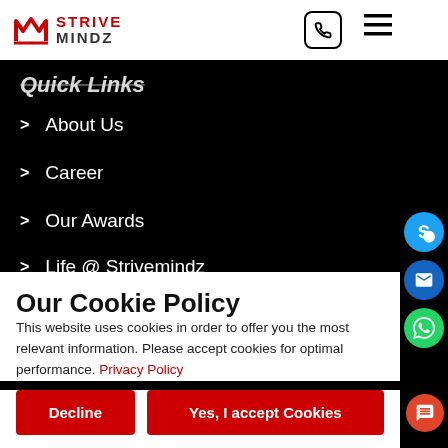STRIVE MINDZ
Quick Links
About Us
Career
Our Awards
Life @ Strivemindz
Portfolio
Contact Us
Our Cookie Policy
This website uses cookies in order to offer you the most relevant information. Please accept cookies for optimal performance. Privacy Policy
Decline
Yes, I accept Cookies